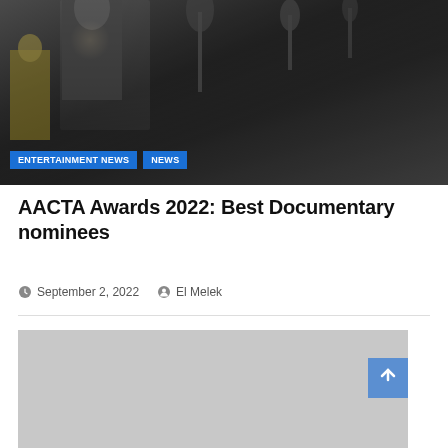[Figure (photo): A crowd scene with photographers and press with microphones surrounding a person in a dark suit. A person in a yellow jacket is visible on the left.]
ENTERTAINMENT NEWS
NEWS
AACTA Awards 2022: Best Documentary nominees
September 2, 2022   El Melek
[Figure (photo): A grey placeholder image below the article header.]